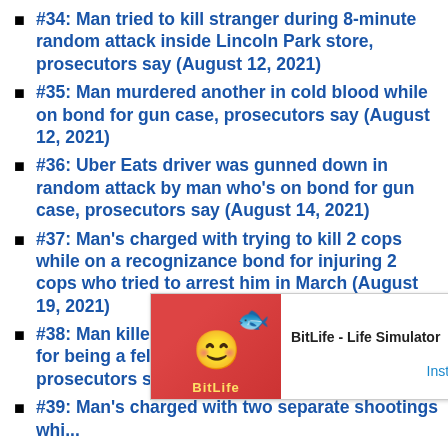#34: Man tried to kill stranger during 8-minute random attack inside Lincoln Park store, prosecutors say (August 12, 2021)
#35: Man murdered another in cold blood while on bond for gun case, prosecutors say (August 12, 2021)
#36: Uber Eats driver was gunned down in random attack by man who's on bond for gun case, prosecutors say (August 14, 2021)
#37: Man's charged with trying to kill 2 cops while on a recognizance bond for injuring 2 cops who tried to arrest him in March (August 19, 2021)
#38: Man killed one, shot another while on bond for being a felon in possession of a firearm, prosecutors say (August 25, 2021)
#39: Man's charged with two separate shootings whi... (2021)
#40: Chef is accused of slashing friend's throat while on bond for allegedly stabbing his own brother to death (September 9, 2021)
[Figure (screenshot): Advertisement overlay for BitLife - Life Simulator app with Install button]